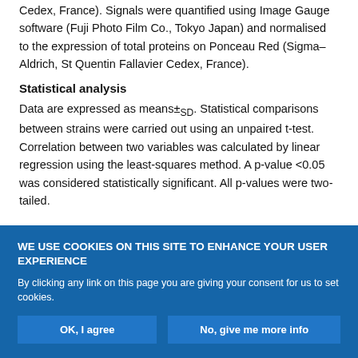Cedex, France). Signals were quantified using Image Gauge software (Fuji Photo Film Co., Tokyo Japan) and normalised to the expression of total proteins on Ponceau Red (Sigma–Aldrich, St Quentin Fallavier Cedex, France).
Statistical analysis
Data are expressed as means±SD. Statistical comparisons between strains were carried out using an unpaired t-test. Correlation between two variables was calculated by linear regression using the least-squares method. A p-value <0.05 was considered statistically significant. All p-values were two-tailed.
WE USE COOKIES ON THIS SITE TO ENHANCE YOUR USER EXPERIENCE
By clicking any link on this page you are giving your consent for us to set cookies.